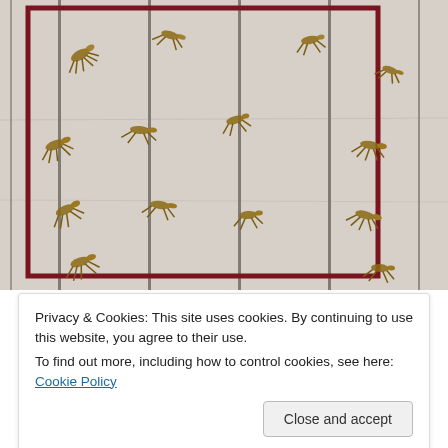[Figure (photo): Photograph of crickets or grasshoppers clinging to white painted wooden planks with vertical boards. A dark red rectangular border is visible on the boards. Multiple insects are scattered across the surface.]
Privacy & Cookies: This site uses cookies. By continuing to use this website, you agree to their use.
To find out more, including how to control cookies, see here: Cookie Policy
Close and accept
requires that the animal has access to the outdoors for an